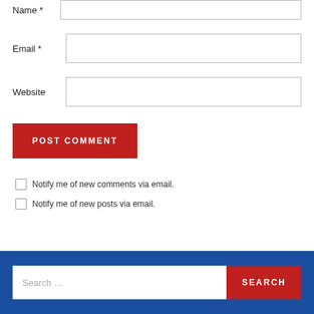Name *
Email *
Website
POST COMMENT
Notify me of new comments via email.
Notify me of new posts via email.
Search ...
SEARCH